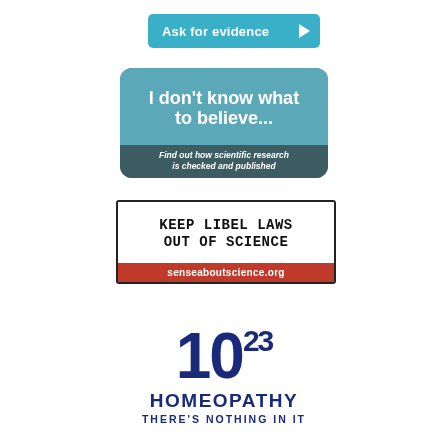[Figure (logo): Teal rounded rectangle button with white text 'Ask for evidence' and a white right-pointing triangle arrow on the right.]
[Figure (logo): Dark teal rounded rectangle badge. Top section in lighter teal with bold white text 'I don't know what to believe...'. Bottom dark section with italic white text 'Find out how scientific research is checked and published'.]
[Figure (logo): Rectangle badge with black border. Top white section with bold typewriter-font text 'KEEP LIBEL LAWS OUT OF SCIENCE'. Bottom red section with white bold text 'senseaboutscience.org'.]
[Figure (logo): 10^23 logo in dark navy blue distressed bold font. Below: 'HOMEOPATHY' in large bold letters and 'THERE'S NOTHING IN IT' in smaller bold letters, all in navy blue.]